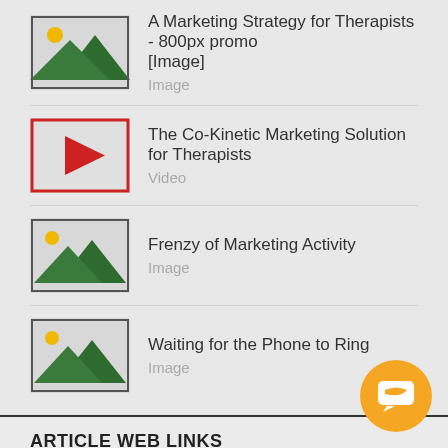A Marketing Strategy for Therapists - 800px promo [Image] — Image
The Co-Kinetic Marketing Solution for Therapists — Video
Frenzy of Marketing Activity — Image
Waiting for the Phone to Ring — Image
ARTICLE WEB LINKS
An Interactive Blueprint with Help Videos and Downloads on How to Use the Co-Kinetic Marketing System